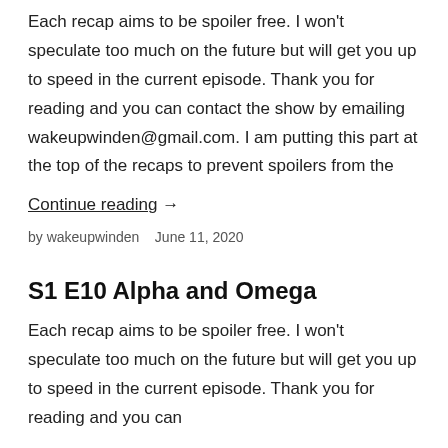Each recap aims to be spoiler free. I won't speculate too much on the future but will get you up to speed in the current episode. Thank you for reading and you can contact the show by emailing wakeupwinden@gmail.com. I am putting this part at the top of the recaps to prevent spoilers from the
Continue reading  →
by wakeupwinden   June 11, 2020
S1 E10 Alpha and Omega
Each recap aims to be spoiler free. I won't speculate too much on the future but will get you up to speed in the current episode. Thank you for reading and you can